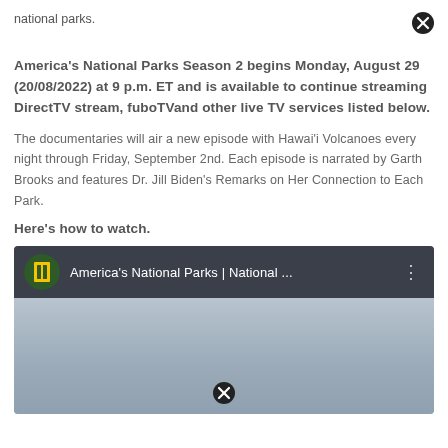national parks.
America's National Parks Season 2 begins Monday, August 29 (20/08/2022) at 9 p.m. ET and is available to continue streaming DirectTV stream, fuboTVand other live TV services listed below.
The documentaries will air a new episode with Hawai'i Volcanoes every night through Friday, September 2nd. Each episode is narrated by Garth Brooks and features Dr. Jill Biden's Remarks on Her Connection to Each Park.
Here's how to watch.
[Figure (screenshot): YouTube embed thumbnail showing America's National Parks | National ... with National Geographic logo and three-dot menu]